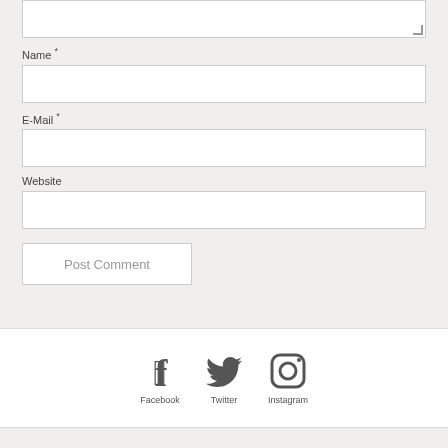Name *
[Figure (screenshot): Name input field (empty text box)]
E-Mail *
[Figure (screenshot): E-Mail input field (empty text box)]
Website
[Figure (screenshot): Website input field (empty text box)]
[Figure (screenshot): Post Comment button]
[Figure (infographic): Social media icons: Facebook, Twitter, Instagram with labels below each icon]